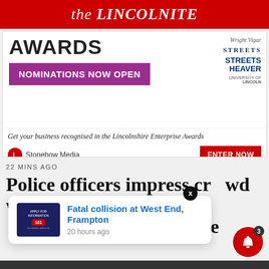the LINCOLNITE
[Figure (advertisement): Lincolnshire Enterprise Awards advertisement banner with purple 'NOMINATIONS NOW OPEN' button, sponsor logos (Wright Vigar, Streets, Streets Heaver, University of Lincoln), tagline 'Get your business recognised in the Lincolnshire Enterprise Awards', Stonebow Media publisher, and red 'ENTER NOW' button.]
22 MINS AGO
Police officers impress crowd with Pride
[Figure (screenshot): Popup notification card showing thumbnail of police/101 service image, title 'Fatal collision at West End, Frampton', timestamp '20 hours ago']